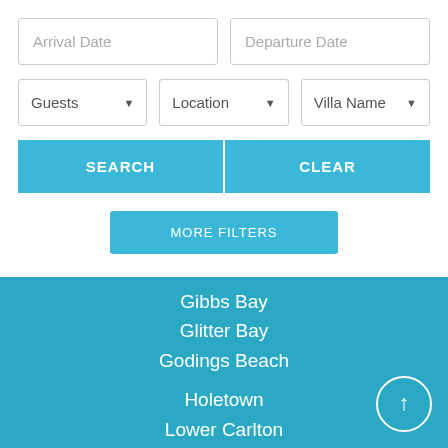Arrival Date
Departure Date
Guests
Location
Villa Name
SEARCH
CLEAR
MORE FILTERS
Gibbs Bay
Glitter Bay
Godings Beach
Holetown
Lower Carlton
Merlin Bay
Mullins Bay
Polo Ridge
Prospect Bay Beach